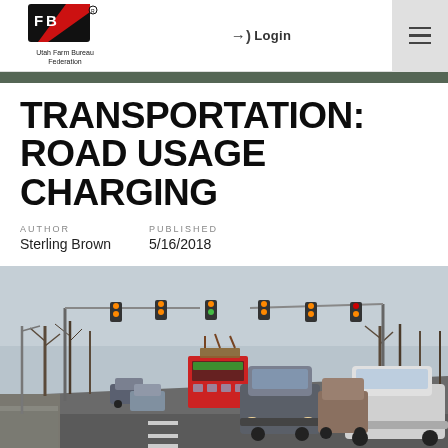Utah Farm Bureau Federation | Login | Menu
TRANSPORTATION: ROAD USAGE CHARGING
AUTHOR
Sterling Brown
PUBLISHED
5/16/2018
[Figure (photo): Photo of busy multi-lane road with cars, a red bus, and traffic lights overhead, taken in winter with bare trees in background.]